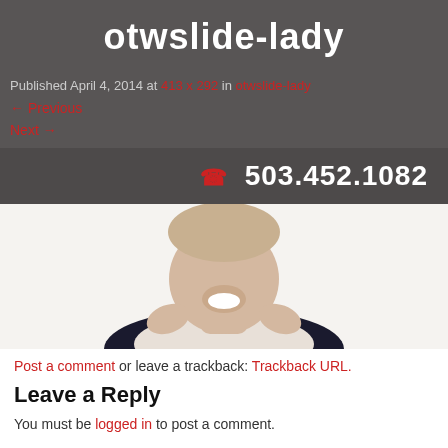otwslide-lady
Published April 4, 2014 at 413 x 292 in otwslide-lady
← Previous
Next →
503.452.1082
[Figure (photo): Woman smiling with hands on cheeks, wearing dark top, shown from chin down]
Post a comment or leave a trackback: Trackback URL.
Leave a Reply
You must be logged in to post a comment.